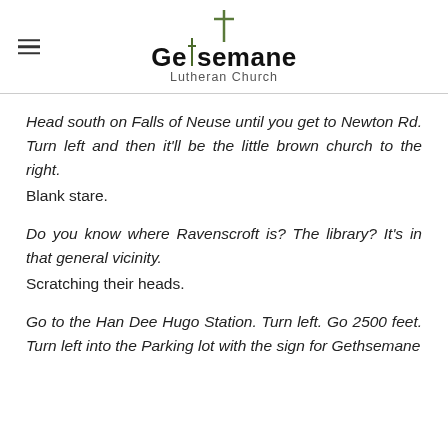Gethsemane Lutheran Church
Head south on Falls of Neuse until you get to Newton Rd. Turn left and then it’ll be the little brown church to the right.
Blank stare.
Do you know where Ravenscroft is? The library? It’s in that general vicinity.
Scratching their heads.
Go to the Han Dee Hugo Station. Turn left. Go 2500 feet. Turn left into the Parking lot with the sign for Gethsemane